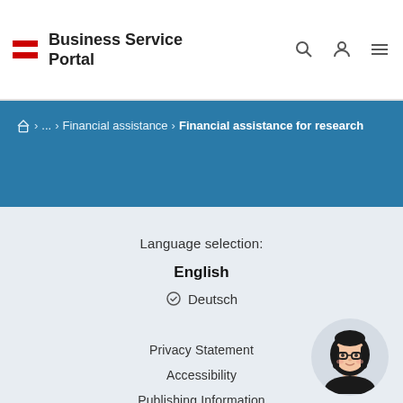Business Service Portal
🏠 > ... > Financial assistance > Financial assistance for research
Language selection:
English
✓ Deutsch
Privacy Statement
Accessibility
Publishing Information
[Figure (illustration): Cartoon avatar of a woman with dark hair and glasses in a circular frame]